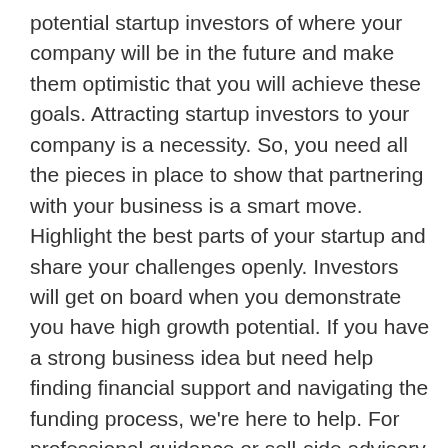potential startup investors of where your company will be in the future and make them optimistic that you will achieve these goals. Attracting startup investors to your company is a necessity. So, you need all the pieces in place to show that partnering with your business is a smart move. Highlight the best parts of your startup and share your challenges openly. Investors will get on board when you demonstrate you have high growth potential. If you have a strong business idea but need help finding financial support and navigating the funding process, we're here to help. For professional guidance or sell-side advisory, schedule a free, no-obligation meeting with our team of experts.